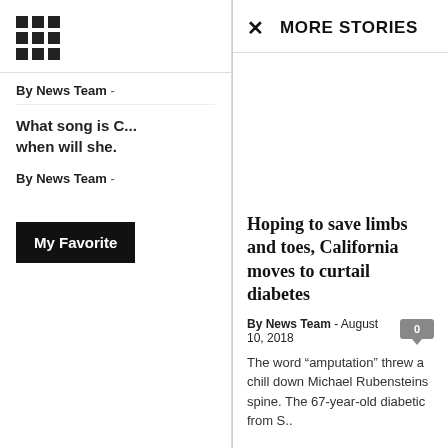[Figure (other): 3x3 grid icon (app menu icon)]
By News Team -
What song is C... when will she.
By News Team -
My Favorite
MORE STORIES
Hoping to save limbs and toes, California moves to curtail diabetes
By News Team  -  August 10, 2018
The word “amputation” threw a chill down Michael Rubensteins spine. The 67-year-old diabetic from S..